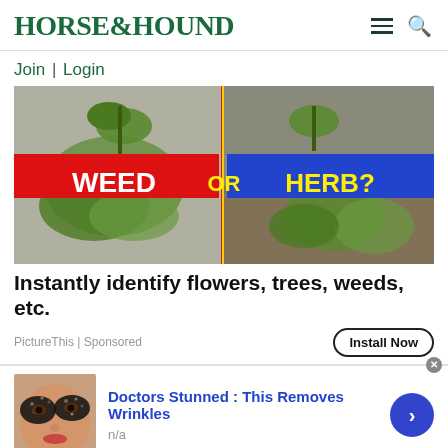HORSE&HOUND
Join | Login
[Figure (photo): Split image showing plants with red banner 'WEED' on left and blue banner 'HERB?' on right, with 'OR' in center. Various plants growing in concrete/gravel/mulch settings.]
Instantly identify flowers, trees, weeds, etc.
PictureThis | Sponsored
Install Now
[Figure (photo): Woman's face with heavy dark eye makeup/sequins around eyes]
Doctors Stunned : This Removes Wrinkles
n/a